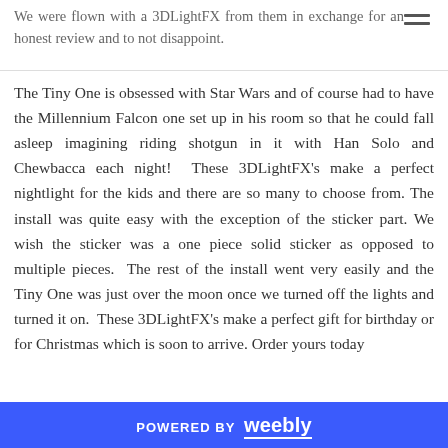We were flown with a 3DLightFX from them in exchange for an honest review and to not disappoint.
The Tiny One is obsessed with Star Wars and of course had to have the Millennium Falcon one set up in his room so that he could fall asleep imagining riding shotgun in it with Han Solo and Chewbacca each night!  These 3DLightFX's make a perfect nightlight for the kids and there are so many to choose from. The install was quite easy with the exception of the sticker part. We wish the sticker was a one piece solid sticker as opposed to multiple pieces.  The rest of the install went very easily and the Tiny One was just over the moon once we turned off the lights and turned it on.  These 3DLightFX's make a perfect gift for birthday or for Christmas which is soon to arrive. Order yours today
POWERED BY weebly